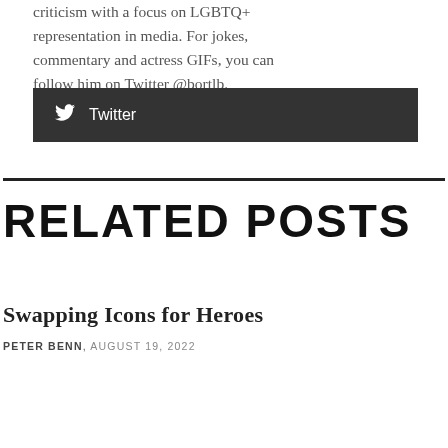criticism with a focus on LGBTQ+ representation in media. For jokes, commentary and actress GIFs, you can follow him on Twitter @bortlb.
[Figure (other): Dark grey button with Twitter bird icon and text 'Twitter']
RELATED POSTS
Swapping Icons for Heroes
PETER BENN, AUGUST 19, 2022